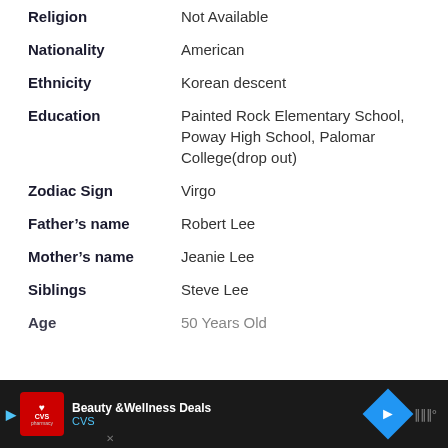| Field | Value |
| --- | --- |
| Religion | Not Available |
| Nationality | American |
| Ethnicity | Korean descent |
| Education | Painted Rock Elementary School, Poway High School, Palomar College(drop out) |
| Zodiac Sign | Virgo |
| Father's name | Robert Lee |
| Mother's name | Jeanie Lee |
| Siblings | Steve Lee |
| Age | 50 Years Old |
[Figure (other): Advertisement banner for CVS Beauty & Wellness Deals at bottom of page]